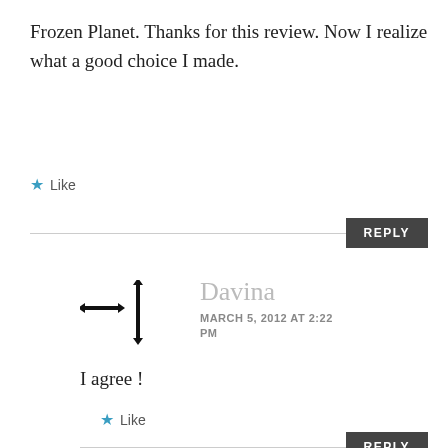Frozen Planet. Thanks for this review. Now I realize what a good choice I made.
★ Like
REPLY
Davina
MARCH 5, 2012 AT 2:22 PM
I agree !
★ Like
REPLY